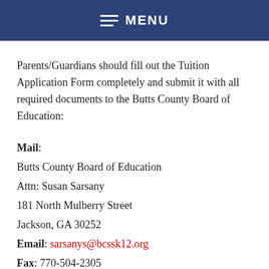MENU
Parents/Guardians should fill out the Tuition Application Form completely and submit it with all required documents to the Butts County Board of Education:
Mail: Butts County Board of Education Attn: Susan Sarsany 181 North Mulberry Street Jackson, GA 30252 Email: sarsanys@bcssk12.org Fax: 770-504-2305